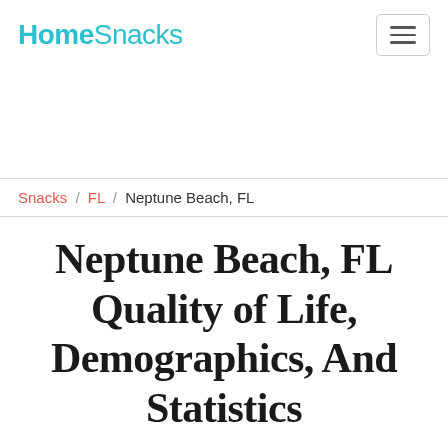HomeSnacks
Snacks / FL / Neptune Beach, FL
Neptune Beach, FL Quality of Life, Demographics, And Statistics